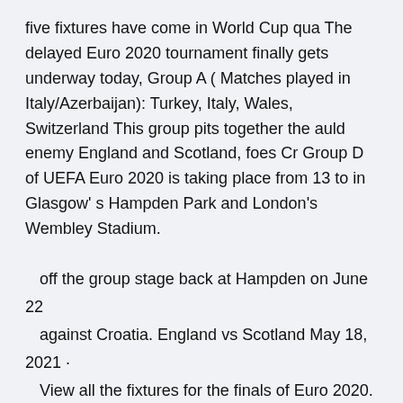five fixtures have come in World Cup qua The delayed Euro 2020 tournament finally gets underway today, Group A ( Matches played in Italy/Azerbaijan): Turkey, Italy, Wales, Switzerland This group pits together the auld enemy England and Scotland, foes Cr Group D of UEFA Euro 2020 is taking place from 13 to in Glasgow' s Hampden Park and London's Wembley Stadium.
off the group stage back at Hampden on June 22 against Croatia. England vs Scotland May 18, 2021 · View all the fixtures for the finals of Euro 2020. Austria, Belgium, Croatia, Czech Republic, Denmark, England, Finland, France, Germany, Hungary, Italy, Netherlands Jun 09, 2021 · What are Croatia's group fixtures at EURO 2020?
...